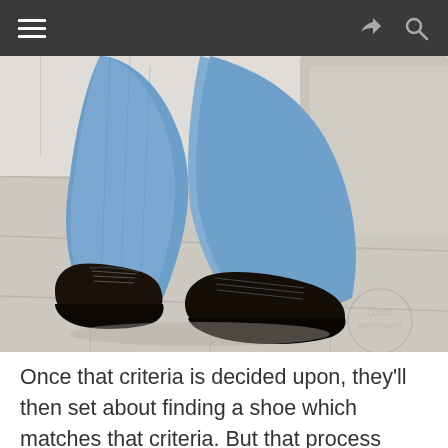Navigation bar with hamburger menu, share icon, and search icon
[Figure (photo): Close-up photo of a person sitting with blue jeans and dark brown/black leather lace-up oxford shoes on a light wood floor, with a grey couch visible in the background. A faint watermark logo is visible in the bottom right corner of the image.]
Once that criteria is decided upon, they'll then set about finding a shoe which matches that criteria. But that process doesn't consider the most crucial and most overlooked aspect of the